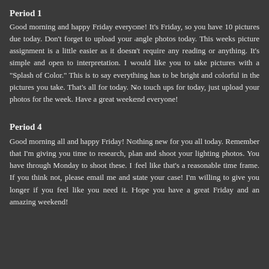Period 1
Good morning and happy Friday everyone! It's Friday, so you have 10 pictures due today. Don't forget to upload your angle photos today. This weeks picture assignment is a little easier as it doesn't require any reading or anything. It's simple and open to interpretation. I would like you to take pictures with a "Splash of Color." This is to say everything has to be bright and colorful in the pictures you take. That's all for today. No touch ups for today, just upload your photos for the week. Have a great weekend everyone!
Period 4
Good morning all and happy Friday! Nothing new for you all today. Remember that I'm giving you time to research, plan and shoot your lighting photos. You have through Monday to shoot these. I feel like that's a reasonable time frame. If you think not, please email me and state your case! I'm willing to give you longer if you feel like you need it. Hope you have a great Friday and an amazing weekend!